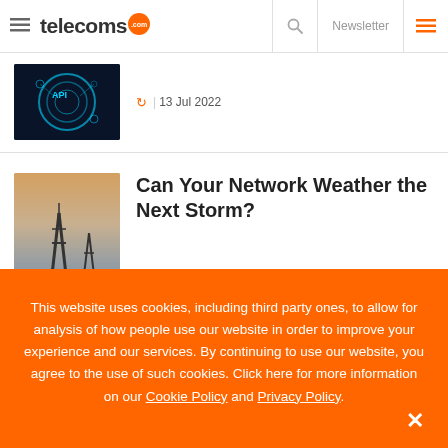telecoms.com | Newsletter
[Figure (screenshot): Dark blue circular API badge with tech network icon]
13 Jul 2022
Can Your Network Weather the Next Storm?
This website uses cookies, including third party ones, to allow for analysis of how people use our website in order to improve your experience and our services. By continuing to use our website, you agree to the use of such cookies. Click here for more information on our Cookie Policy and Privacy Policy.